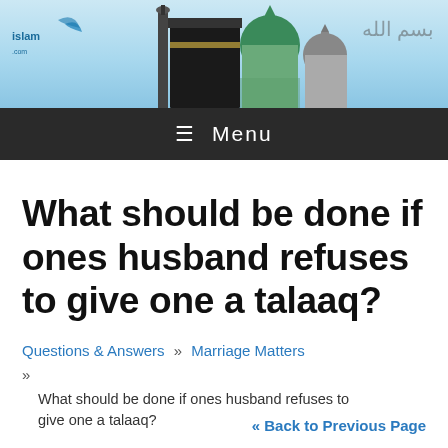[Figure (photo): Islam.com website header banner with mosque silhouettes and Arabic calligraphy on a blue gradient background]
≡  Menu
What should be done if ones husband refuses to give one a talaaq?
Questions & Answers  »  Marriage Matters  »
What should be done if ones husband refuses to give one a talaaq?
« Back to Previous Page